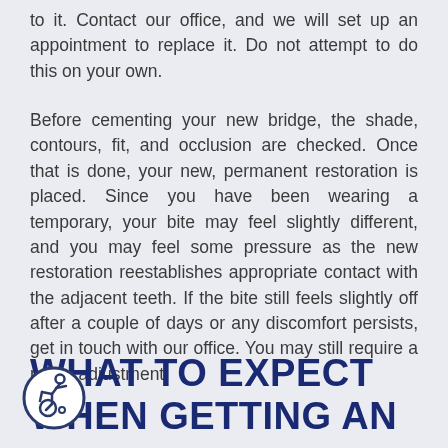to it. Contact our office, and we will set up an appointment to replace it. Do not attempt to do this on your own.
Before cementing your new bridge, the shade, contours, fit, and occlusion are checked. Once that is done, your new, permanent restoration is placed. Since you have been wearing a temporary, your bite may feel slightly different, and you may feel some pressure as the new restoration reestablishes appropriate contact with the adjacent teeth. If the bite still feels slightly off after a couple of days or any discomfort persists, get in touch with our office. You may still require a minor adjustment.
WHAT TO EXPECT WHEN GETTING AN
[Figure (illustration): Accessibility icon: circular icon with a wheelchair user symbol, dark outline on light background]